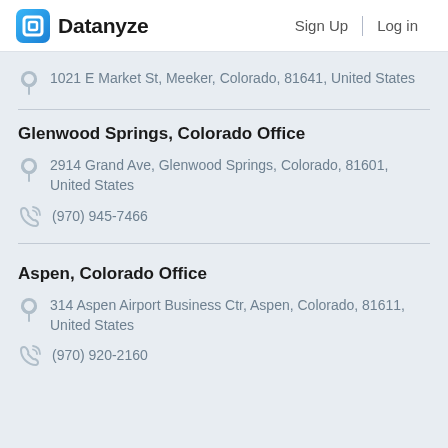Datanyze | Sign Up | Log in
1021 E Market St, Meeker, Colorado, 81641, United States
Glenwood Springs, Colorado Office
2914 Grand Ave, Glenwood Springs, Colorado, 81601, United States
(970) 945-7466
Aspen, Colorado Office
314 Aspen Airport Business Ctr, Aspen, Colorado, 81611, United States
(970) 920-2160